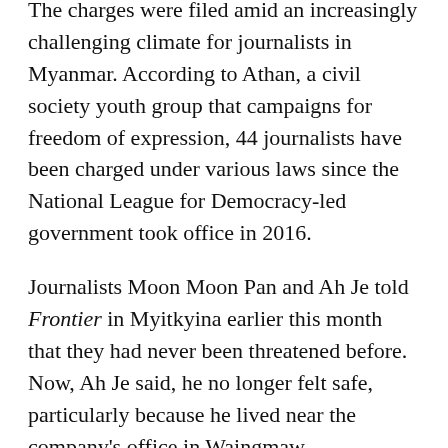The charges were filed amid an increasingly challenging climate for journalists in Myanmar. According to Athan, a civil society youth group that campaigns for freedom of expression, 44 journalists have been charged under various laws since the National League for Democracy-led government took office in 2016.
Journalists Moon Moon Pan and Ah Je told Frontier in Myitkyina earlier this month that they had never been threatened before. Now, Ah Je said, he no longer felt safe, particularly because he lived near the company's office in Waingmaw.
But Ah Je, who had worked at the Myitkyina News Journal for just six months, said he would continue reporting as before. Asked why, he said, “If I